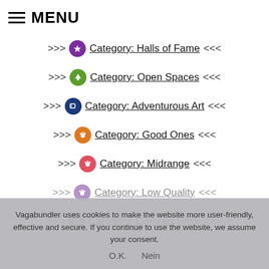MENU
>>> Category: Halls of Fame <<<
>>> Category: Open Spaces <<<
>>> Category: Adventurous Art <<<
>>> Category: Good Ones <<<
>>> Category: Midrange <<<
>>> Category: Low Quality <<<
>>> Category: Contract Work <<<
Vagabundler uses cookies to make the website more user-friendly, effective and secure. If you continue to use the website, we assume your consent.
O.K.   Nein